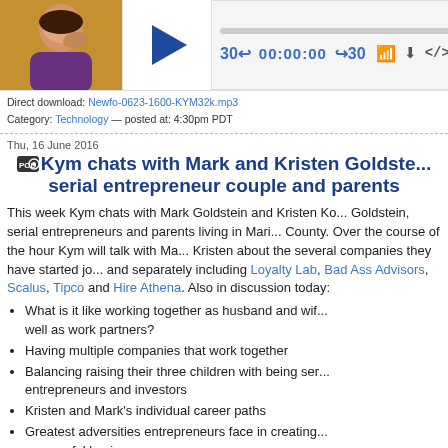[Figure (screenshot): Podcast player with photo of a woman in purple, a logo with blue arrow, and audio controls showing 30s skip back, 00:00:00 timer, 30s skip forward, and icons for subscription, download, embed]
Direct download: Newfo-0623-1600-KYM32k.mp3
Category: Technology — posted at: 4:30pm PDT
Thu, 16 June 2016
Kym chats with Mark and Kristen Goldste... serial entrepreneur couple and parents
This week Kym chats with Mark Goldstein and Kristen Ko... Goldstein, serial entrepreneurs and parents living in Mari... County. Over the course of the hour Kym will talk with Ma... Kristen about the several companies they have started jo... and separately including Loyalty Lab, Bad Ass Advisors, Scalus, Tipco and Hire Athena. Also in discussion today:
What is it like working together as husband and wif... well as work partners?
Having multiple companies that work together
Balancing raising their three children with being ser... entrepreneurs and investors
Kristen and Mark's individual career paths
Greatest adversities entrepreneurs face in creating... successful businesses